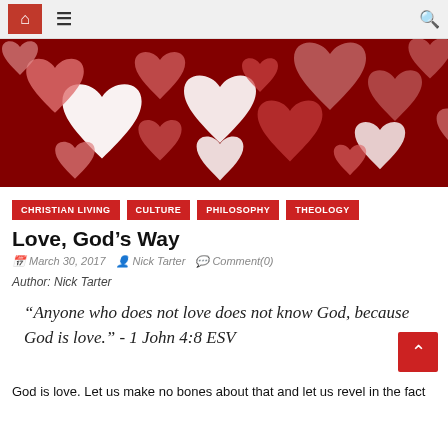Navigation bar with home, menu, and search icons
[Figure (illustration): Red background with multiple bokeh heart shapes in various sizes and shades of red, pink, and white scattered across the image.]
CHRISTIAN LIVING   CULTURE   PHILOSOPHY   THEOLOGY
Love, God’s Way
March 30, 2017   Nick Tarter   Comment(0)
Author: Nick Tarter
“Anyone who does not love does not know God, because God is love.” – 1 John 4:8 ESV
God is love. Let us make no bones about that and let us revel in the fact